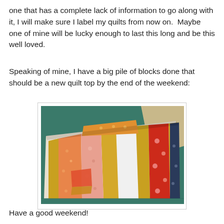one that has a complete lack of information to go along with it, I will make sure I label my quilts from now on.  Maybe one of mine will be lucky enough to last this long and be this well loved.
Speaking of mine, I have a big pile of blocks done that should be a new quilt top by the end of the weekend:
[Figure (photo): A photo of a pile of colorful quilt blocks/strips arranged on a green cutting mat. The fabrics include orange, red, gold/yellow, white, and floral patterned pieces in various strip and block shapes.]
Have a good weekend!